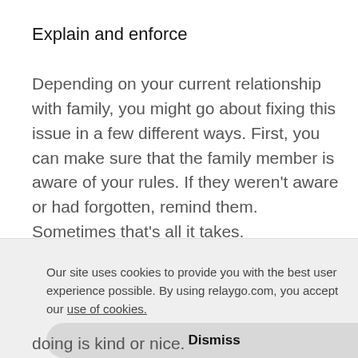Explain and enforce
Depending on your current relationship with family, you might go about fixing this issue in a few different ways. First, you can make sure that the family member is aware of your rules. If they weren't aware or had forgotten, remind them. Sometimes that's all it takes.
Our site uses cookies to provide you with the best user experience possible. By using relaygo.com, you accept our use of cookies.
Dismiss
doing is kind or nice.